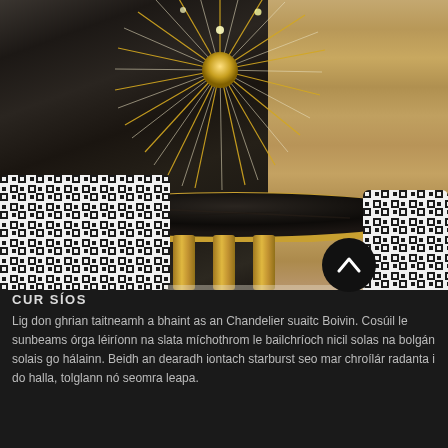[Figure (photo): Interior design photo showing a luxury dining room with a sputnik/starburst chandelier with gold and white spokes hanging from the ceiling, a round black marble table with a gold base, and two black-and-white patterned chairs. The background features a dark marble wall panel and wood paneling.]
CUR SÍOS
Lig don ghrian taitneamh a bhaint as an Chandelier suaitc Boivin. Cosúil le sunbeams órga léiríonn na slata míchothrom le bailchríoch nicil solas na bolgán solais go hálainn. Beidh an dearadh iontach starburst seo mar chroílár radanta i do halla, tolglann nó seomra leapa.